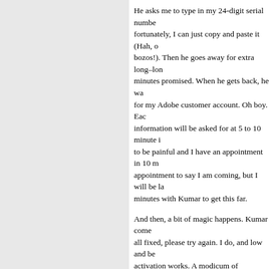He asks me to type in my 24-digit serial number, fortunately, I can just copy and paste it (Hah, on you bozos!). Then he goes away for extra long–longer than the minutes promised. When he gets back, he wants to sign up for my Adobe customer account. Oh boy. Each piece of information will be asked for at 5 to 10 minute intervals. This is going to be painful and I have an appointment in 10 minutes. I call the appointment to say I am coming, but I will be late. I spent 45 minutes with Kumar to get this far.
And then, a bit of magic happens. Kumar comes back and says all fixed, please try again. I do, and low and behold, the activation works. A modicum of happiness ensues. But like nuclear bombers my DefCon blood pressure rises again. Then I started thinking about what had happened. The only reason online activation, had failed, the only reason I was worried whether I would fail to activate and therefore lose the tool, the only reason I had to spend 45 minutes with Kumar, was the two pieces of information needed to fix the problem. The reason I was getting really ticked off at Adobe, was that they wanted to associate my serial number (Kumar called it signing up for the activation code) with my email.
Remember when I said I didn't create an account? Well I also didn't bother registering Photoshop. There was a dialog box about every 2 weeks asking me to fill out a registration form and I would just tell it to go away. Eventually it